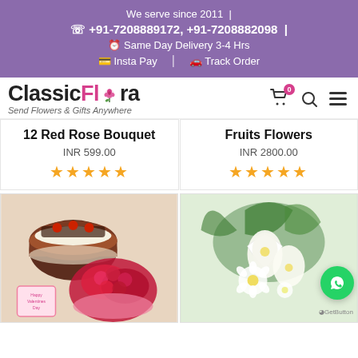We serve since 2011 | ☎ +91-7208889172, +91-7208882098 | ⏱ Same Day Delivery 3-4 Hrs | 💳 Insta Pay | 🚚 Track Order
[Figure (logo): ClassicFlora logo with rose icon, tagline: Send Flowers & Gifts Anywhere, cart icon with badge 0, search icon, menu icon]
12 Red Rose Bouquet
INR 599.00
★★★★★
Fruits Flowers
INR 2800.00
★★★★★
[Figure (photo): Photo of a chocolate cake with cherries and a large bouquet of red roses with greeting card]
[Figure (photo): Photo of a white lily and flower bouquet arrangement]